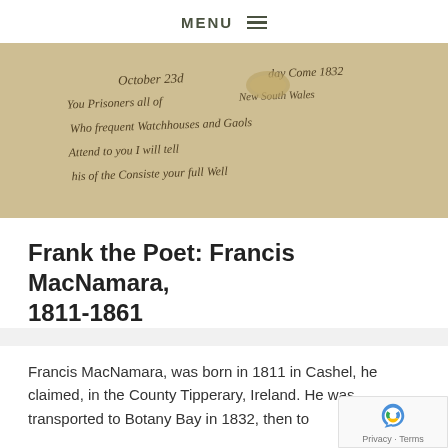MENU ☰
[Figure (photo): Old handwritten document in cursive script, appears to be a 19th century letter or poem with text referencing prisoners and dates including 1832]
Frank the Poet: Francis MacNamara, 1811-1861
Francis MacNamara, was born in 1811 in Cashel, he claimed, in the County Tipperary, Ireland. He was transported to Botany Bay in 1832, then to
READ MORE »
31 August 2015